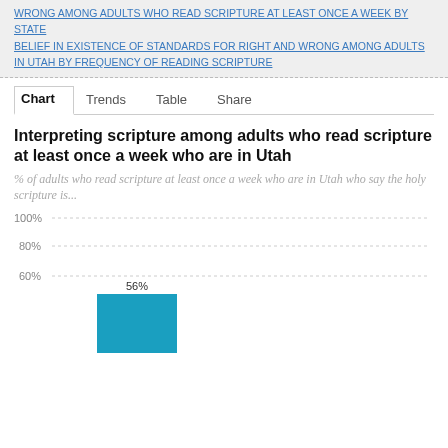WRONG AMONG ADULTS WHO READ SCRIPTURE AT LEAST ONCE A WEEK BY STATE  BELIEF IN EXISTENCE OF STANDARDS FOR RIGHT AND WRONG AMONG ADULTS IN UTAH BY FREQUENCY OF READING SCRIPTURE
Chart  Trends  Table  Share
Interpreting scripture among adults who read scripture at least once a week who are in Utah
% of adults who read scripture at least once a week who are in Utah who say the holy scripture is...
[Figure (bar-chart): Interpreting scripture among adults who read scripture at least once a week who are in Utah]